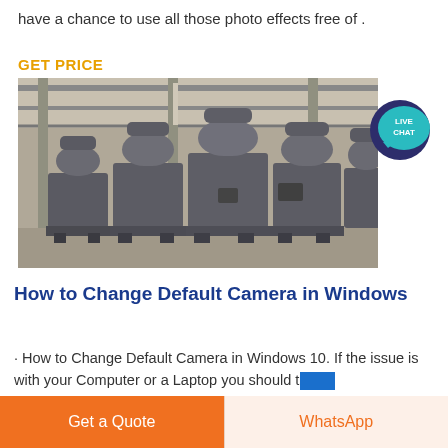have a chance to use all those photo effects free of .
GET PRICE
[Figure (photo): Factory interior showing a row of large industrial grey grinding mill machines lined up on a concrete floor inside a warehouse with steel roof structure.]
[Figure (infographic): Live Chat speech bubble icon in teal/dark blue color with text 'LIVE CHAT' in white.]
How to Change Default Camera in Windows
· How to Change Default Camera in Windows 10. If the issue is with your Computer or a Laptop you should try
Get a Quote
WhatsApp